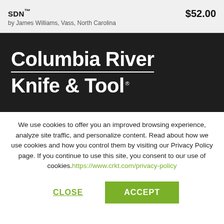SDN™
$52.00
by James Williams, Vass, North Carolina
[Figure (logo): Columbia River Knife & Tool logo on dark background]
We use cookies to offer you an improved browsing experience, analyze site traffic, and personalize content. Read about how we use cookies and how you control them by visiting our Privacy Policy page. If you continue to use this site, you consent to our use of cookies.https://www.crkt.com/privacy-policy
CLOSE
ACCEPT